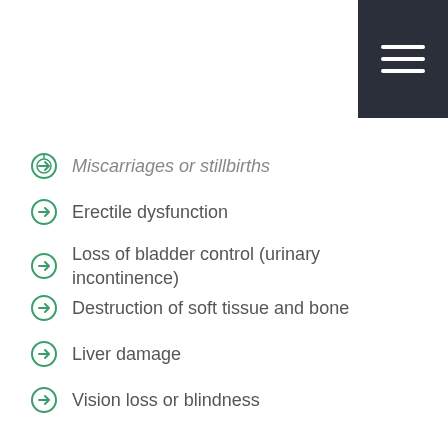Miscarriages or stillbirths
Erectile dysfunction
Loss of bladder control (urinary incontinence)
Destruction of soft tissue and bone
Liver damage
Vision loss or blindness
To prevent any of these complications from occurring, it is recommended that you contact your healthcare provider as soon as you suspect that you are infected with primary syphilis.
Syphilis Diagnosis and Testing
A syphilis specialist can diagnose your condition with a small sample (swab) from a sore, which is then analyzed in a laboratory for presence of Treponema pallidum bacteria.